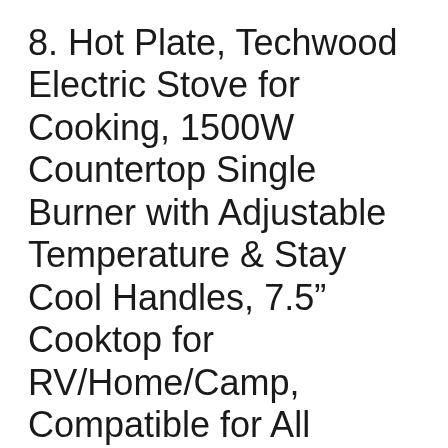8. Hot Plate, Techwood Electric Stove for Cooking, 1500W Countertop Single Burner with Adjustable Temperature & Stay Cool Handles, 7.5” Cooktop for RV/Home/Camp, Compatible for All Cookwares Upgraded Version